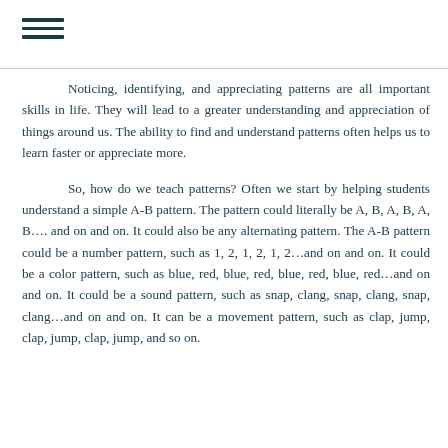≡
Noticing, identifying, and appreciating patterns are all important skills in life. They will lead to a greater understanding and appreciation of things around us. The ability to find and understand patterns often helps us to learn faster or appreciate more.

So, how do we teach patterns? Often we start by helping students understand a simple A-B pattern. The pattern could literally be A, B, A, B, A, B…. and on and on. It could also be any alternating pattern. The A-B pattern could be a number pattern, such as 1, 2, 1, 2, 1, 2…and on and on. It could be a color pattern, such as blue, red, blue, red, blue, red, blue, red…and on and on. It could be a sound pattern, such as snap, clang, snap, clang, snap, clang…and on and on. It can be a movement pattern, such as clap, jump, clap, jump, clap, jump, and so on.